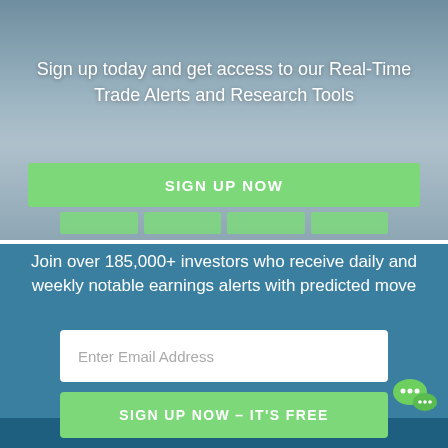[Figure (photo): Blurred background photo of a tablet on a desk with a green apple and coffee cup, teal/blue-gray overlay]
Sign up today and get access to our Real-Time Trade Alerts and Research Tools
SIGN UP NOW
Join over 185,000+ investors who receive daily and weekly notable earnings alerts with predicted move
Enter Email Address
SIGN UP NOW – IT'S FREE